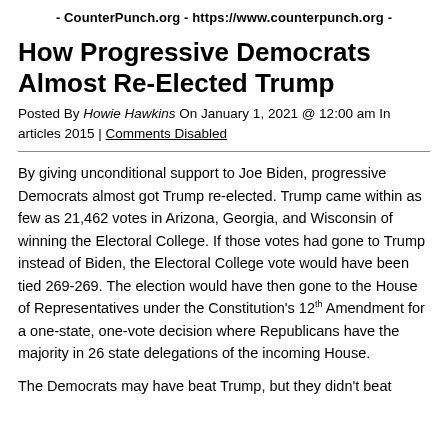- CounterPunch.org - https://www.counterpunch.org -
How Progressive Democrats Almost Re-Elected Trump
Posted By Howie Hawkins On January 1, 2021 @ 12:00 am In articles 2015 | Comments Disabled
By giving unconditional support to Joe Biden, progressive Democrats almost got Trump re-elected. Trump came within as few as 21,462 votes in Arizona, Georgia, and Wisconsin of winning the Electoral College. If those votes had gone to Trump instead of Biden, the Electoral College vote would have been tied 269-269. The election would have then gone to the House of Representatives under the Constitution's 12th Amendment for a one-state, one-vote decision where Republicans have the majority in 26 state delegations of the incoming House.
The Democrats may have beat Trump, but they didn't beat